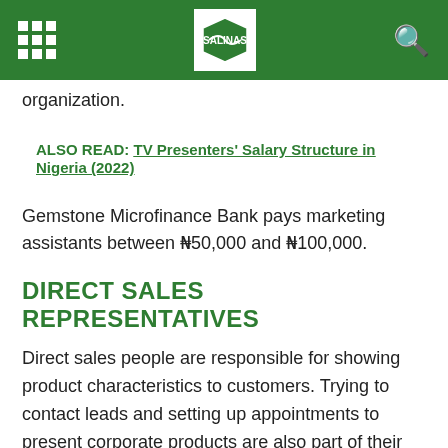organization.
ALSO READ:  TV Presenters' Salary Structure in Nigeria (2022)
Gemstone Microfinance Bank pays marketing assistants between ₦50,000 and ₦100,000.
DIRECT SALES REPRESENTATIVES
Direct sales people are responsible for showing product characteristics to customers. Trying to contact leads and setting up appointments to present corporate products are also part of their responsibilities. It also includes filling up order forms and submitting them for processing.